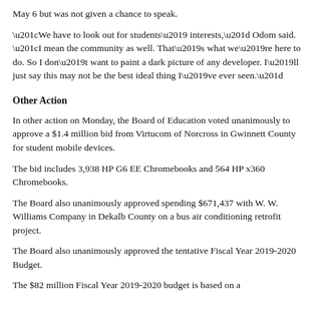May 6 but was not given a chance to speak.
“We have to look out for students’ interests,” Odom said. “I mean the community as well. That’s what we’re here to do. So I don’t want to paint a dark picture of any developer. I’ll just say this may not be the best ideal thing I’ve ever seen.”
Other Action
In other action on Monday, the Board of Education voted unanimously to approve a $1.4 million bid from Virtucom of Norcross in Gwinnett County for student mobile devices.
The bid includes 3,938 HP G6 EE Chromebooks and 564 HP x360 Chromebooks.
The Board also unanimously approved spending $671,437 with W. W. Williams Company in Dekalb County on a bus air conditioning retrofit project.
The Board also unanimously approved the tentative Fiscal Year 2019-2020 Budget.
The $82 million Fiscal Year 2019-2020 budget is based on a